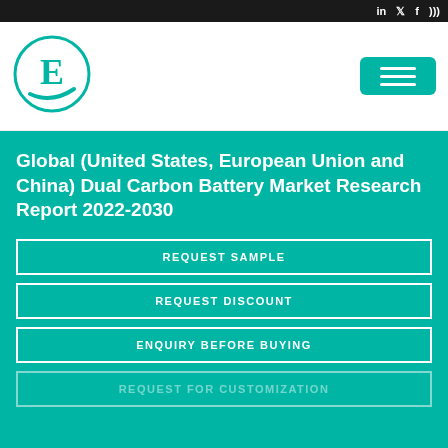Social icons: LinkedIn, Twitter, Facebook, RSS
[Figure (logo): Emergen Research logo — letter E inside a teal circle with swoosh element]
[Figure (other): Hamburger menu button in teal]
Global (United States, European Union and China) Dual Carbon Battery Market Research Report 2022-2030
REQUEST SAMPLE
REQUEST DISCOUNT
ENQUIRY BEFORE BUYING
REQUEST FOR CUSTOMIZATION
We use cookies to improve your website experience. To learn about our use of cookies, please see our Cookie Policy. By continuing to use the website, you consent to our use of cookies.
I Agree!